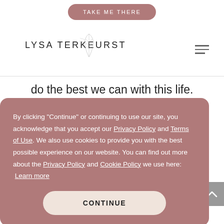[Figure (other): Pink rounded rectangle button labeled TAKE ME THERE]
[Figure (logo): Lysa TerKeurst logo with botanical leaf illustration and hamburger menu icon]
do the best we can with this life. Thank you for sharing and know,
By clicking "Continue" or continuing to use our site, you acknowledge that you accept our Privacy Policy and Terms of Use. We also use cookies to provide you with the best possible experience on our website. You can find out more about the Privacy Policy and Cookie Policy we use here: Learn more
[Figure (other): CONTINUE button in light pink rounded rectangle]
Thanks for sharing your story